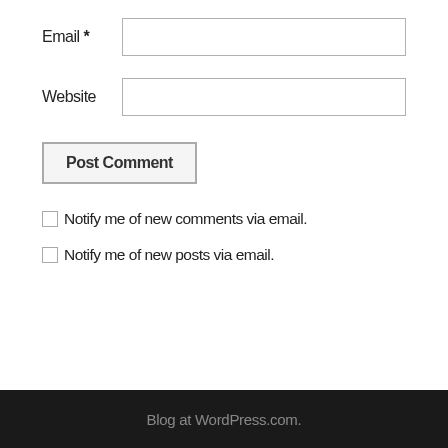Email *
Website
Post Comment
Notify me of new comments via email.
Notify me of new posts via email.
Blog at WordPress.com.